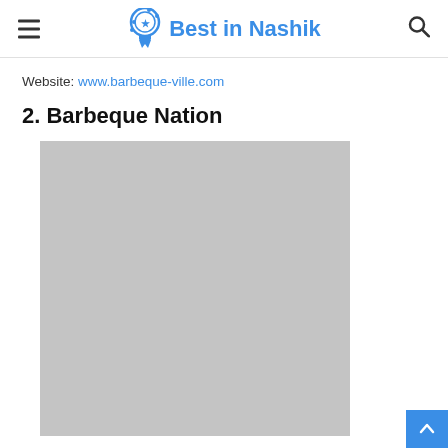Best in Nashik
Website: www.barbeque-ville.com
2. Barbeque Nation
[Figure (photo): Gray placeholder image for Barbeque Nation restaurant]